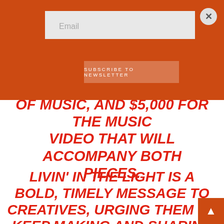[Figure (screenshot): Orange header bar with email subscription form, email text input field, Subscribe to Newsletter button, and close (X) button]
OF MUSIC, AND $5,000 FOR THE MUSIC VIDEO THAT WILL ACCOMPANY BOTH PIECES.
LIVIN' IN THE LIGHT IS A BOLD, TIMELY MESSAGE TO CREATIVES, URGING THEM TO KEEP MAKING AND SHARING ART DURING THE PANDEMIC AND CHALLENGING INSTITUTIONAL RESPONSES TO THIS CRISIS. MY FILM AND MUSIC DOCUMENT THE IMPACT OF COVID-19 ON BLACK CREATIVES.